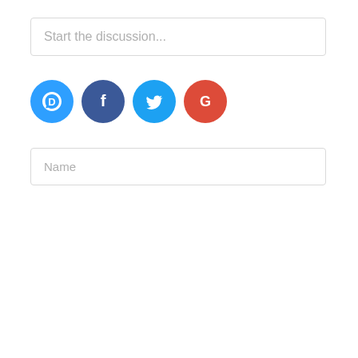[Figure (screenshot): Comment input field with placeholder text 'Start the discussion...']
[Figure (infographic): Social login icons: Disqus (blue speech bubble with D), Facebook (dark blue circle with f), Twitter (light blue circle with bird), Google (red circle with G)]
[Figure (screenshot): Name input field with placeholder text 'Name']